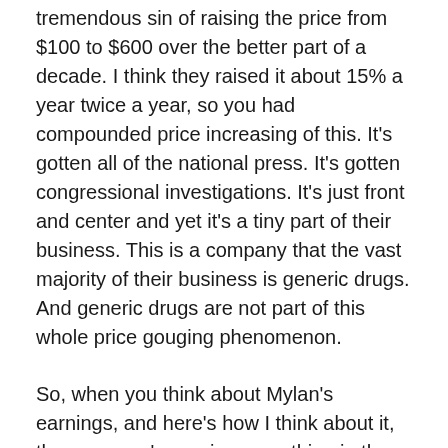tremendous sin of raising the price from $100 to $600 over the better part of a decade. I think they raised it about 15% a year twice a year, so you had compounded price increasing of this. It's gotten all of the national press. It's gotten congressional investigations. It's just front and center and yet it's a tiny part of their business. This is a company that the vast majority of their business is generic drugs. And generic drugs are not part of this whole price gouging phenomenon.
So, when you think about Mylan's earnings, and here's how I think about it, the company's earning something in the high $4s this year, of which a dollar will be EpiPen. Next year it's supposed to earn something in the mid $5s. The following year we think it will be in the low $6s. Now EpiPen is something that already is ready for generic competition and one way or the other will become a generic competition.